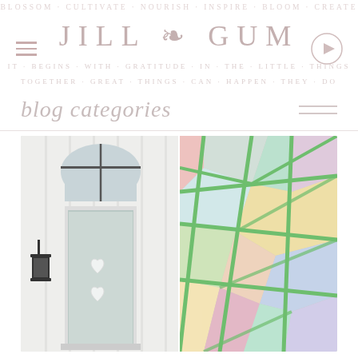JILL GUM
blog categories
[Figure (photo): Two-photo collage: left shows a white farmhouse exterior with a glass door, board-and-batten siding, arched window above, and a black lantern wall sconce with small heart ornaments hanging on the door; right shows a colorful geometric stained-glass style chalk art on pavement with bright green lines dividing pastel sections in pink, blue, mint, yellow, and lavender.]